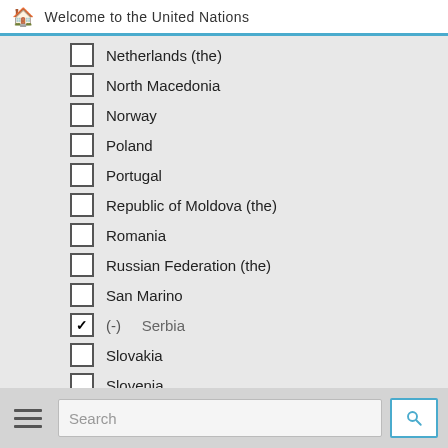Welcome to the United Nations
Netherlands (the)
North Macedonia
Norway
Poland
Portugal
Republic of Moldova (the)
Romania
Russian Federation (the)
San Marino
(-) Serbia (checked)
Slovakia
Slovenia
Spain
Sweden
Switzerland
Ukraine